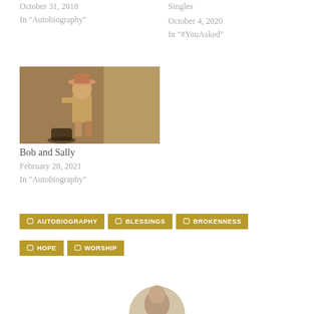October 31, 2018
In "Autobiography"
October 4, 2020
In "#YouAsked"
[Figure (photo): A young child wearing a tan cowboy outfit and hat, standing near a door outdoors.]
Bob and Sally
February 28, 2021
In "Autobiography"
AUTOBIOGRAPHY
BLESSINGS
BROKENNESS
HOPE
WORSHIP
[Figure (photo): Circular avatar/profile photo of a person, partially visible at the bottom of the page.]